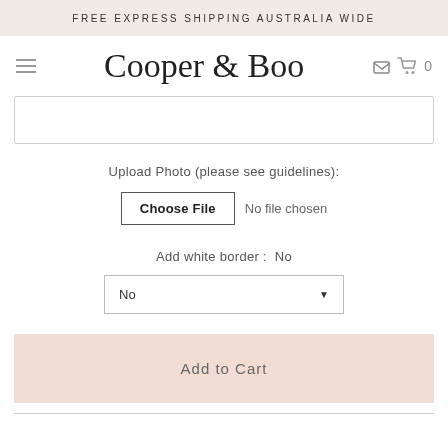FREE EXPRESS SHIPPING AUSTRALIA WIDE
Cooper & Boo
Upload Photo (please see guidelines):
Choose File  No file chosen
Add white border :  No
No
Add to Cart